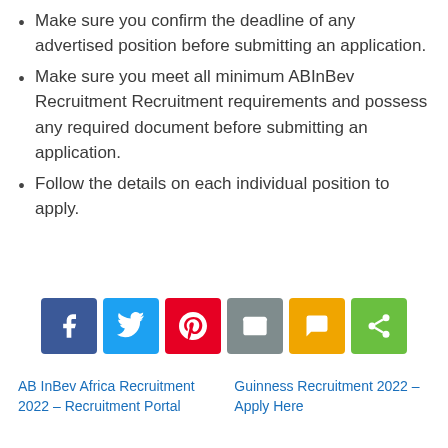Make sure you confirm the deadline of any advertised position before submitting an application.
Make sure you meet all minimum ABInBev Recruitment Recruitment requirements and possess any required document before submitting an application.
Follow the details on each individual position to apply.
[Figure (other): Row of six social sharing buttons: Facebook (blue), Twitter (light blue), Pinterest (red), Email (grey), SMS (yellow/orange), Share (green)]
AB InBev Africa Recruitment 2022 – Recruitment Portal
Guinness Recruitment 2022 – Apply Here